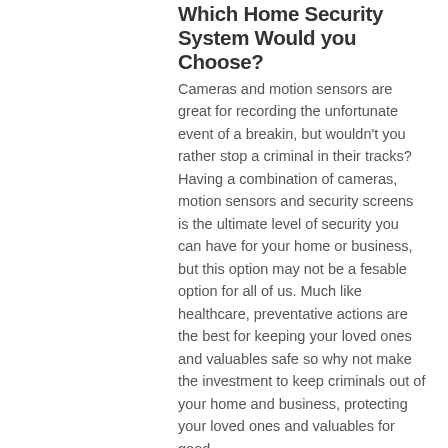Which Home Security System Would you Choose?
Cameras and motion sensors are great for recording the unfortunate event of a breakin, but wouldn't you rather stop a criminal in their tracks? Having a combination of cameras, motion sensors and security screens is the ultimate level of security you can have for your home or business, but this option may not be a fesable option for all of us. Much like healthcare, preventative actions are the best for keeping your loved ones and valuables safe so why not make the investment to keep criminals out of your home and business, protecting your loved ones and valuables for good.
Keep checking back regularly for more updates to our blog page and head over